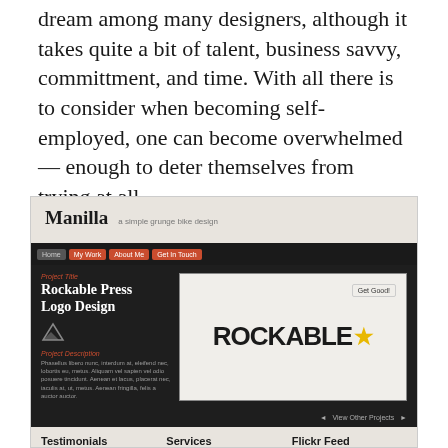dream among many designers, although it takes quite a bit of talent, business savvy, committment, and time. With all there is to consider when becoming self-employed, one can become overwhelmed — enough to deter themselves from trying at all.
[Figure (screenshot): Screenshot of a website called 'Manilla - a simple grunge bike design' showing a portfolio entry for 'Rockable Press Logo Design' with the Rockable logo displayed prominently, along with navigation, testimonials, services, and Flickr feed sections.]